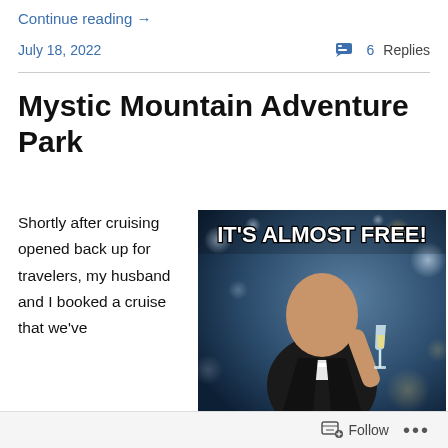Continue reading →
July 18, 2022
💬 6 Replies
Mystic Mountain Adventure Park
Shortly after cruising opened back up for travelers, my husband and I booked a cruise that we've
[Figure (photo): Meme image of a man in a tuxedo raising a champagne glass, with bold white text reading 'IT'S ALMOST FREE!' overlaid at the top. Bokeh party lights visible in background. imgflip.com watermark in the bottom left.]
Follow ...